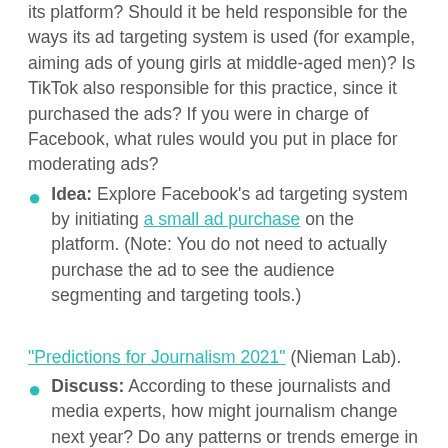its platform? Should it be held responsible for the ways its ad targeting system is used (for example, aiming ads of young girls at middle-aged men)? Is TikTok also responsible for this practice, since it purchased the ads? If you were in charge of Facebook, what rules would you put in place for moderating ads?
Idea: Explore Facebook's ad targeting system by initiating a small ad purchase on the platform. (Note: You do not need to actually purchase the ad to see the audience segmenting and targeting tools.)
"Predictions for Journalism 2021" (Nieman Lab).
Discuss: According to these journalists and media experts, how might journalism change next year? Do any patterns or trends emerge in these predictions? Which predictions do students agree with?
Idea: Divide students into groups and have each group select a piece from this collection of predictions to read and discuss. What did students find most interesting or revealing?